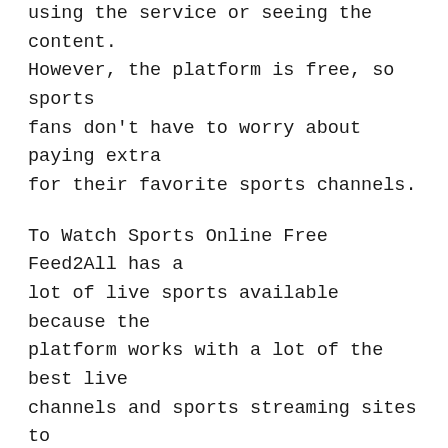using the service or seeing the content. However, the platform is free, so sports fans don't have to worry about paying extra for their favorite sports channels.
To Watch Sports Online Free Feed2All has a lot of live sports available because the platform works with a lot of the best live channels and sports streaming sites to deliver sporting content to its users.
The website's main page shows all the games that are going on right now in leagues and tournaments all over the world. When you click on a link, you'll see how you can watch live sports. You get a lot of different types of sports, like football